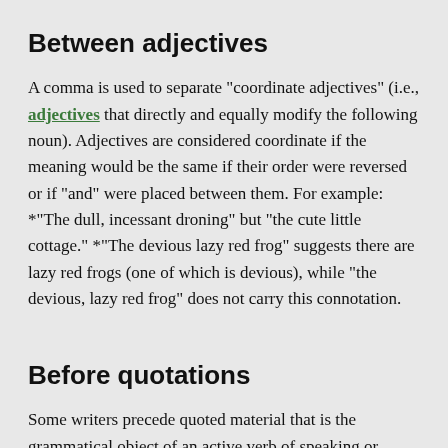Between adjectives
A comma is used to separate "coordinate adjectives" (i.e., adjectives that directly and equally modify the following noun). Adjectives are considered coordinate if the meaning would be the same if their order were reversed or if "and" were placed between them. For example: *"The dull, incessant droning" but "the cute little cottage." *"The devious lazy red frog" suggests there are lazy red frogs (one of which is devious), while "the devious, lazy red frog" does not carry this connotation.
Before quotations
Some writers precede quoted material that is the grammatical object of an active verb of speaking or writing with a comma, as in "Mr. Kershner says, "You should know how to use a comma."" Quotations that follow and support an assertion are often preceded by a